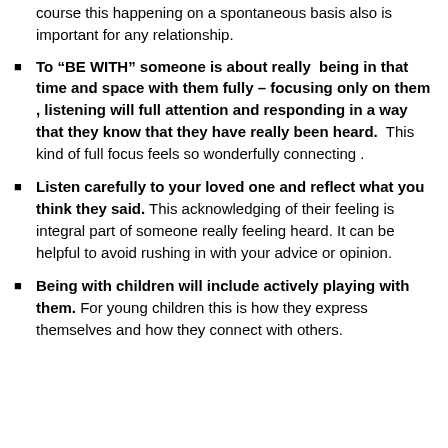course this happening on a spontaneous basis also is important for any relationship.
To “BE WITH” someone is about really being in that time and space with them fully – focusing only on them , listening will full attention and responding in a way that they know that they have really been heard. This kind of full focus feels so wonderfully connecting .
Listen carefully to your loved one and reflect what you think they said. This acknowledging of their feeling is integral part of someone really feeling heard. It can be helpful to avoid rushing in with your advice or opinion.
Being with children will include actively playing with them. For young children this is how they express themselves and how they connect with others.